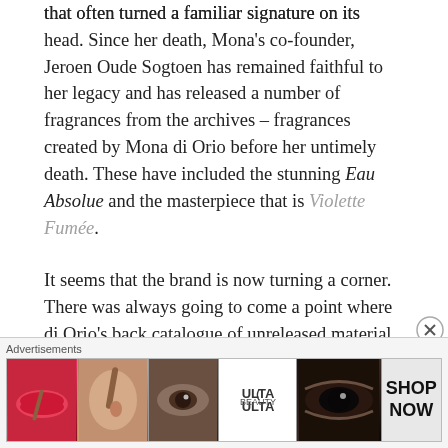that often turned a familiar signature on its head. Since her death, Mona's co-founder, Jeroen Oude Sogtoen has remained faithful to her legacy and has released a number of fragrances from the archives – fragrances created by Mona di Orio before her untimely death. These have included the stunning Eau Absolue and the masterpiece that is Violette Fumée.
It seems that the brand is now turning a corner. There was always going to come a point where di Orio's back catalogue of unreleased material would run out and an external perfumer would need to be invited in to compose something new. Now is that time and the brand is launching their first fragrance under their new Monogram collection, as well as re-
[Figure (other): Advertisement banner for ULTA beauty showing close-up beauty images: red lips with brush, eye with brush, eye close-up, ULTA logo, smoky eye, with SHOP NOW call to action]